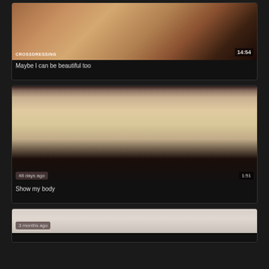[Figure (screenshot): Video thumbnail showing close-up face with eye makeup, with watermark text 'CROSSDRESSING' and timestamp '14:54']
Maybe I can be beautiful too
[Figure (screenshot): Video thumbnail showing torso/body with '48 days ago' overlay and timestamp '1:51']
Show my body
[Figure (screenshot): Video thumbnail showing blurry image with '3 months ago' overlay]